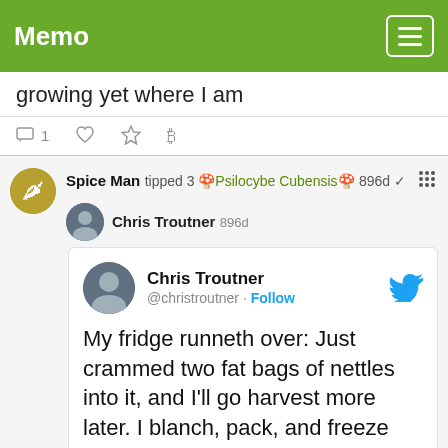Memo
growing yet where I am
1
Spice Man tipped 3 🍄Psilocybe Cubensis🍄 896d ✓
Chris Troutner 896d
Chris Troutner @christroutner · Follow
My fridge runneth over: Just crammed two fat bags of nettles into it, and I'll go harvest more later. I blanch, pack, and freeze them same as you'd do for spinach. Healthy, free leafy green to disc and add to any meal. Also